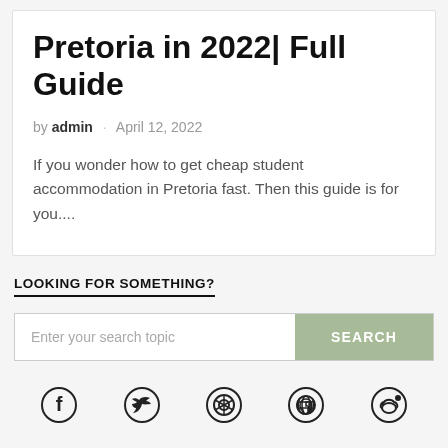Pretoria in 2022| Full Guide
by admin · April 12, 2022
If you wonder how to get cheap student accommodation in Pretoria fast. Then this guide is for you....
LOOKING FOR SOMETHING?
Enter your search topic
[Figure (other): Social media icons row: Facebook, Twitter, WhatsApp, Pinterest, Reddit]